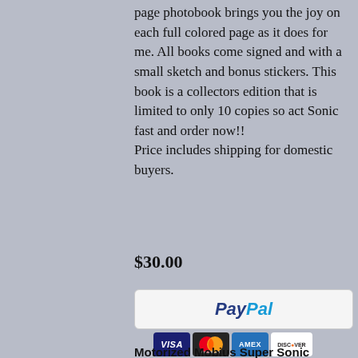page photobook brings you the joy on each full colored page as it does for me.  All books come signed and with a small sketch and bonus stickers.  This book is a collectors edition that is limited to only 10 copies so act Sonic fast and order now!!
Price includes shipping for domestic buyers.
$30.00
[Figure (other): PayPal payment button with white/light grey background and PayPal logo in blue]
[Figure (other): Payment method icons: VISA, Mastercard, AMEX, Discover]
Motorized Mobius Super Sonic